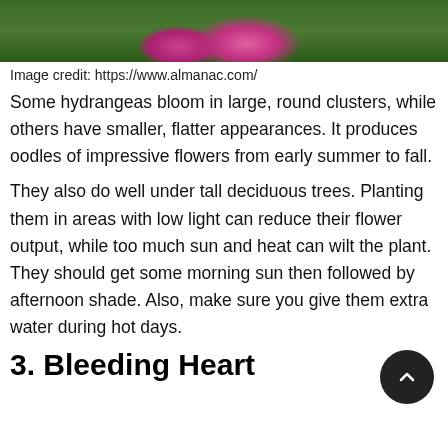[Figure (photo): Top portion of a hydrangea flower photo showing pink/magenta blooms with green leaves, partially cropped at the top of the page.]
Image credit: https://www.almanac.com/
Some hydrangeas bloom in large, round clusters, while others have smaller, flatter appearances. It produces oodles of impressive flowers from early summer to fall.
They also do well under tall deciduous trees. Planting them in areas with low light can reduce their flower output, while too much sun and heat can wilt the plant. They should get some morning sun then followed by afternoon shade. Also, make sure you give them extra water during hot days.
3. Bleeding Heart